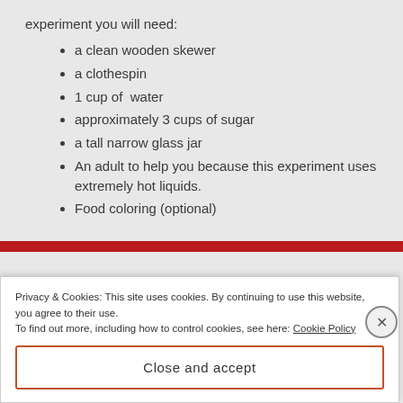experiment you will need:
a clean wooden skewer
a clothespin
1 cup of  water
approximately 3 cups of sugar
a tall narrow glass jar
An adult to help you because this experiment uses extremely hot liquids.
Food coloring (optional)
Privacy & Cookies: This site uses cookies. By continuing to use this website, you agree to their use.
To find out more, including how to control cookies, see here: Cookie Policy
Close and accept